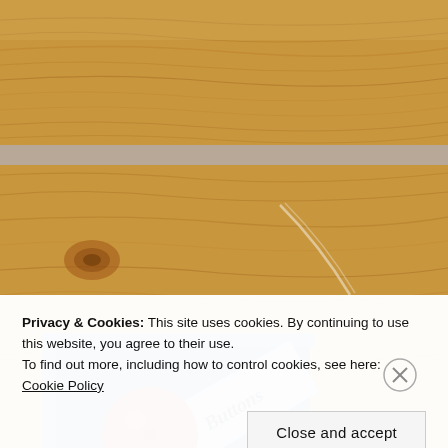[Figure (photo): Close-up photo of a wooden surface with warm brown wood grain texture — top portion cropped.]
[Figure (photo): Photo of a blue fabric sewing case with a label reading 'Buttons' and red crocheted button-shaped pincushions, placed on a wooden surface.]
Privacy & Cookies: This site uses cookies. By continuing to use this website, you agree to their use.
To find out more, including how to control cookies, see here:
Cookie Policy
Close and accept